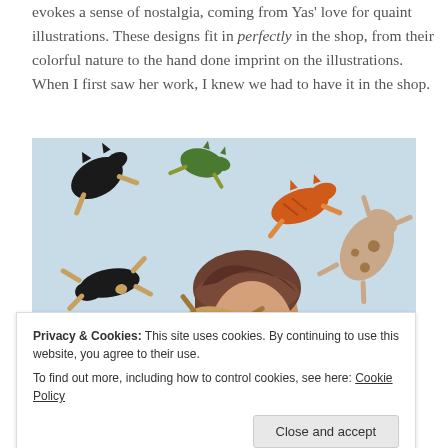evokes a sense of nostalgia, coming from Yas' love for quaint illustrations. These designs fit in perfectly in the shop, from their colorful nature to the hand done imprint on the illustrations. When I first saw her work, I knew we had to have it in the shop.
[Figure (photo): A woman looking upward surrounded by colorful illustrated animals (cats, dogs) floating around her head against a light blue background.]
Privacy & Cookies: This site uses cookies. By continuing to use this website, you agree to their use.
To find out more, including how to control cookies, see here: Cookie Policy
Close and accept